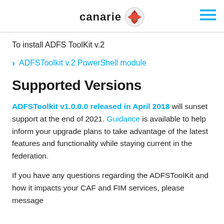canarie
To install ADFS ToolKit v.2
ADFSToolkit v.2 PowerShell module
Supported Versions
ADFSToolkit v1.0.0.0 released in April 2018 will sunset support at the end of 2021. Guidance is available to help inform your upgrade plans to take advantage of the latest features and functionality while staying current in the federation.
If you have any questions regarding the ADFSToolKit and how it impacts your CAF and FIM services, please message